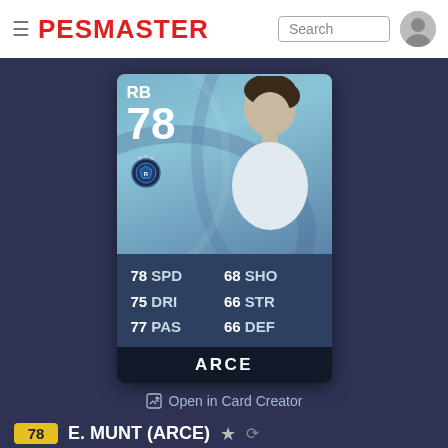PESMASTER
[Figure (illustration): PES Master player card for ARCE showing position RB, overall rating 78, club badge, player silhouette, stats: 78 SPD, 68 SHO, 75 DRI, 66 STR, 77 PAS, 66 DEF, player name ARCE]
Open in Card Creator
78 E. MUNT (ARCE) ★ ↺
World Classics (2)
E. Munt (Arce) PES 2021 Stats